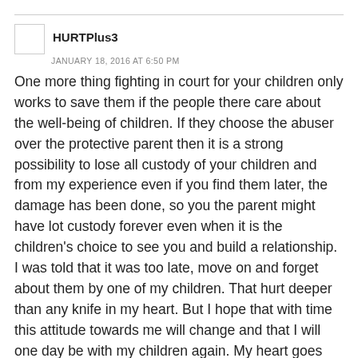HURTPlus3
JANUARY 18, 2016 AT 6:50 PM
One more thing fighting in court for your children only works to save them if the people there care about the well-being of children. If they choose the abuser over the protective parent then it is a strong possibility to lose all custody of your children and from my experience even if you find them later, the damage has been done, so you the parent might have lot custody forever even when it is the children's choice to see you and build a relationship. I was told that it was too late, move on and forget about them by one of my children. That hurt deeper than any knife in my heart. But I hope that with time this attitude towards me will change and that I will one day be with my children again. My heart goes out to all of the loving parents who miss there children and want them back in there lives.♡♡♡